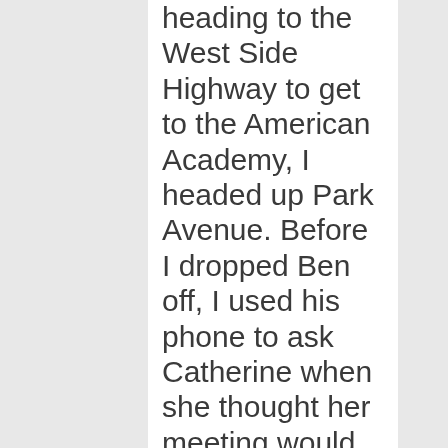heading to the West Side Highway to get to the American Academy, I headed up Park Avenue. Before I dropped Ben off, I used his phone to ask Catherine when she thought her meeting would be over. She guessed at about 3 O'Clock. It was about 2:35 PM at that point. I needed to use Ben's phone